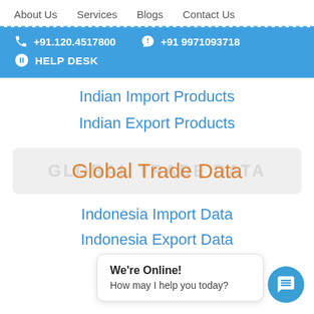About Us   Services   Blogs   Contact Us
+91.120.4517800   +91 9971093718
HELP DESK
Indian Import Products
Indian Export Products
Global Trade Data
Indonesia Import Data
Indonesia Export Data
Peru Import Data
We're Online!
How may I help you today?